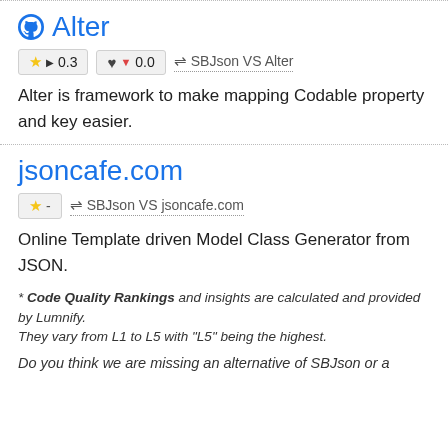Alter
★ ▶ 0.3   ♥ ▼ 0.0   ⇌ SBJson VS Alter
Alter is framework to make mapping Codable property and key easier.
jsoncafe.com
★ -   ⇌ SBJson VS jsoncafe.com
Online Template driven Model Class Generator from JSON.
* Code Quality Rankings and insights are calculated and provided by Lumnify.
They vary from L1 to L5 with "L5" being the highest.
Do you think we are missing an alternative of SBJson or a